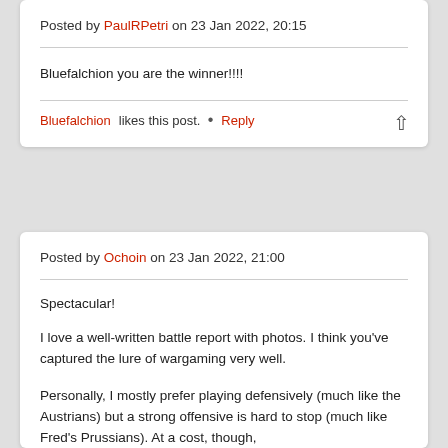Posted by PaulRPetri on 23 Jan 2022, 20:15
Bluefalchion you are the winner!!!!
Bluefalchion likes this post.  •  Reply
Posted by Ochoin on 23 Jan 2022, 21:00
Spectacular!
I love a well-written battle report with photos. I think you've captured the lure of wargaming very well.
Personally, I mostly prefer playing defensively (much like the Austrians) but a strong offensive is hard to stop (much like Fred's Prussians). At a cost, though,